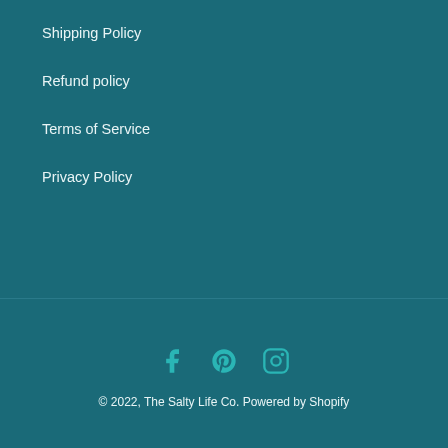Shipping Policy
Refund policy
Terms of Service
Privacy Policy
[Figure (other): Social media icons: Facebook, Pinterest, Instagram]
© 2022, The Salty Life Co. Powered by Shopify